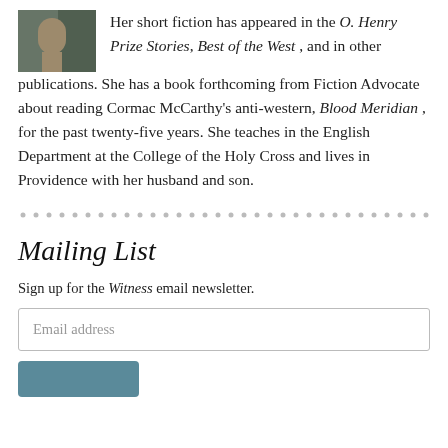[Figure (photo): Small portrait photo of a person, partially visible, brownish/greenish tones]
Her short fiction has appeared in the O. Henry Prize Stories, Best of the West, and in other publications. She has a book forthcoming from Fiction Advocate about reading Cormac McCarthy's anti-western, Blood Meridian, for the past twenty-five years. She teaches in the English Department at the College of the Holy Cross and lives in Providence with her husband and son.
Mailing List
Sign up for the Witness email newsletter.